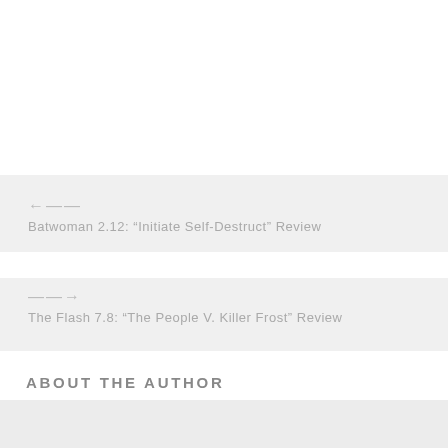← Batwoman 2.12: “Initiate Self-Destruct” Review
→ The Flash 7.8: “The People V. Killer Frost” Review
ABOUT THE AUTHOR